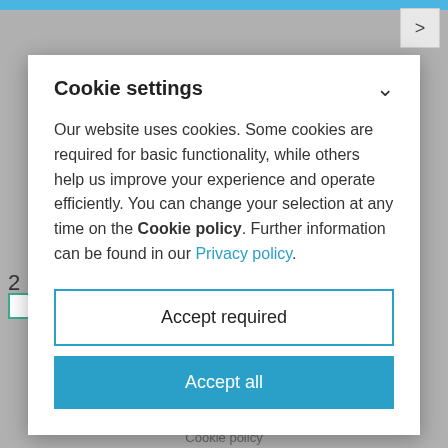Cookie settings
Our website uses cookies. Some cookies are required for basic functionality, while others help us improve your experience and operate efficiently. You can change your selection at any time on the Cookie policy. Further information can be found in our Privacy policy.
Accept required
Accept all
Cookie policy